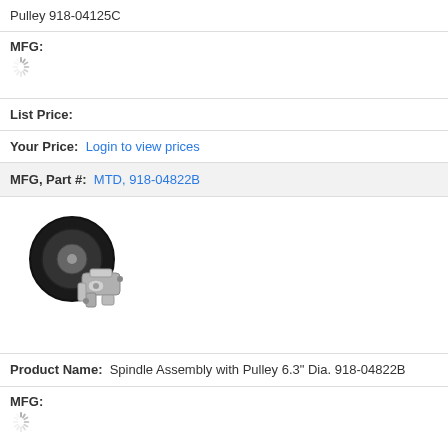Pulley 918-04125C
MFG:
List Price:
Your Price:   Login to view prices
MFG, Part #:   MTD, 918-04822B
[Figure (photo): Spindle assembly with pulley part]
Product Name:   Spindle Assembly with Pulley 6.3" Dia. 918-04822B
MFG:
List Price:
Your Price:   Login to view prices